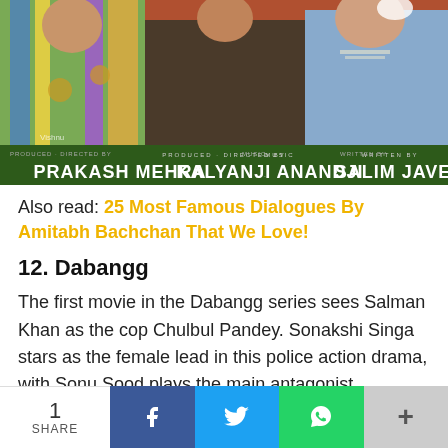[Figure (photo): Movie poster showing colorfully dressed Bollywood actors with text at the bottom: PRODUCED-DIRECTED BY PRAKASH MEHRA · MUSIC KALYANJI ANANDJI · WRITTEN BY SALIM JAVED]
Also read: 25 Most Famous Dialogues By Amitabh Bachchan That We Love!
12. Dabangg
The first movie in the Dabangg series sees Salman Khan as the cop Chulbul Pandey. Sonakshi Singa stars as the female lead in this police action drama, with Sonu Sood plays the main antagonist.
1 SHARE  [Facebook] [Twitter] [WhatsApp] [+]